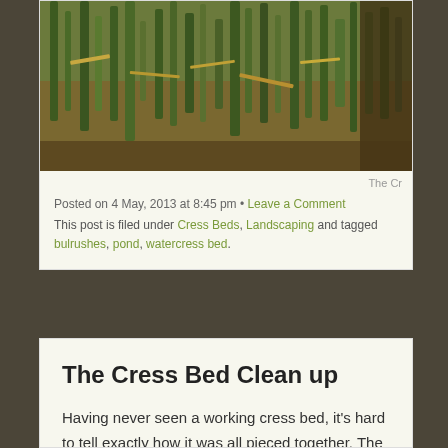[Figure (photo): Cropped top portion of a photo showing grass, straw, and dark soil/ground of a cress bed site]
The Cr
Posted on 4 May, 2013 at 8:45 pm • Leave a Comment
This post is filed under Cress Beds, Landscaping and tagged bulrushes, pond, watercress bed.
The Cress Bed Clean up
Having never seen a working cress bed, it's hard to tell exactly how it was all pieced together. The obvious necessary element to the farm was a constant supply of fresh, mineral laced water. There are two bore holes on the site, one capped and working, the other